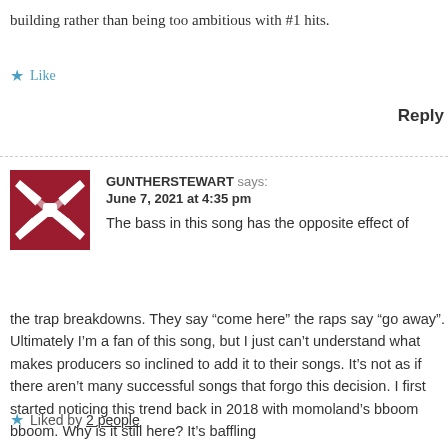building rather than being too ambitious with #1 hits.
Like
Reply
GUNTHERSTEWART says:
June 7, 2021 at 4:35 pm
The bass in this song has the opposite effect of the trap breakdowns. They say “come here” the raps say “go away”. Ultimately I’m a fan of this song, but I just can’t understand what makes producers so inclined to add it to their songs. It’s not as if there aren’t many successful songs that forgo this decision. I first started noticing this trend back in 2018 with momoland’s bboom bboom. Why is it still here? It’s baffling
Liked by 2 people